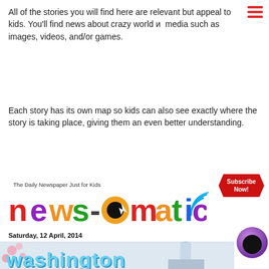All of the stories you will find here are relevant but appeal to kids. You'll find news about crazy world и media such as images, videos, and/or games.
Each story has its own map so kids can also see exactly where the story is taking place, giving them an even better understanding.
This app is free to download however it does require a subscription to use. Yearly subscriptions are priced at $19.99, monthly is $1.99, and weekly is $0.99.
[Figure (screenshot): Screenshot of the News-O-Matic app showing the logo 'news-O-matic', tagline 'The Daily Newspaper Just for Kids', a 'Subscribe Now!' button, date 'Saturday, 12 April, 2014', and the beginning of a story about Washington with a cherry blossom image.]